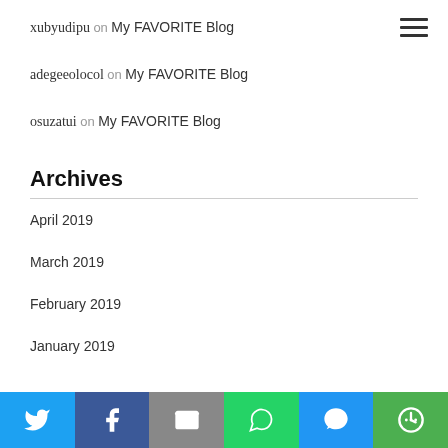xubyudipu on My FAVORITE Blog
adegeeolocol on My FAVORITE Blog
osuzatui on My FAVORITE Blog
Archives
April 2019
March 2019
February 2019
January 2019
[Figure (infographic): Social sharing bar with Twitter, Facebook, Email, WhatsApp, SMS, and More buttons]